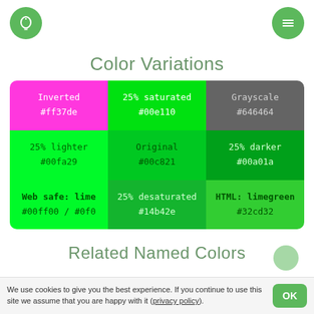lightbulb icon | hamburger menu icon
Color Variations
| Col1 | Col2 | Col3 |
| --- | --- | --- |
| Inverted
#ff37de | 25% saturated
#00e110 | Grayscale
#646464 |
| 25% lighter
#00fa29 | Original
#00c821 | 25% darker
#00a01a |
| Web safe: lime
#00ff00 / #0f0 | 25% desaturated
#14b42e | HTML: limegreen
#32cd32 |
Related Named Colors
We use cookies to give you the best experience. If you continue to use this site we assume that you are happy with it (privacy policy).